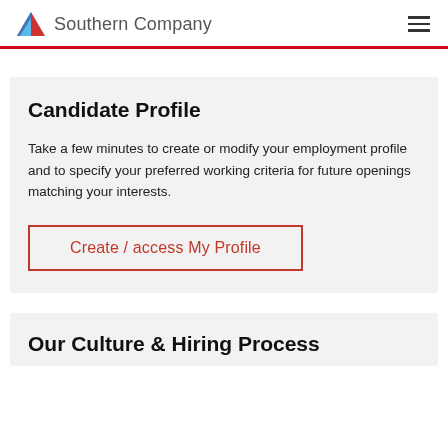Southern Company
Candidate Profile
Take a few minutes to create or modify your employment profile and to specify your preferred working criteria for future openings matching your interests.
Create / access My Profile
Our Culture & Hiring Process